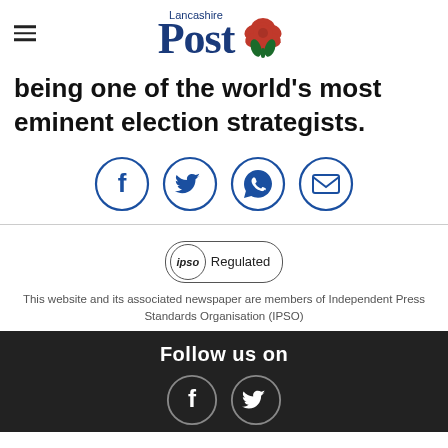Lancashire Post
being one of the world's most eminent election strategists.
[Figure (other): Social share icons: Facebook, Twitter, WhatsApp, Email]
[Figure (logo): IPSO Regulated badge]
This website and its associated newspaper are members of Independent Press Standards Organisation (IPSO)
Follow us on
[Figure (other): Footer social icons: Facebook, Twitter]